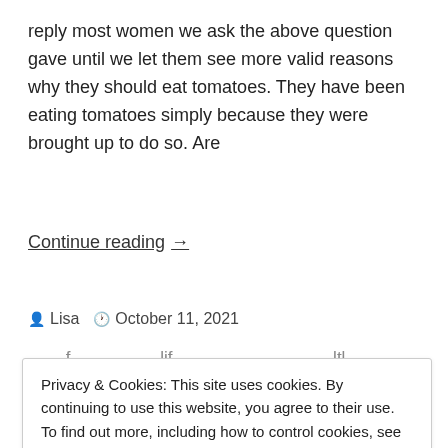reply most women we ask the above question gave until we let them see more valid reasons why they should eat tomatoes. They have been eating tomatoes simply because they were brought up to do so. Are
Continue reading →
Lisa   October 11, 2021
Privacy & Cookies: This site uses cookies. By continuing to use this website, you agree to their use. To find out more, including how to control cookies, see here: Cookie Policy
Close and accept